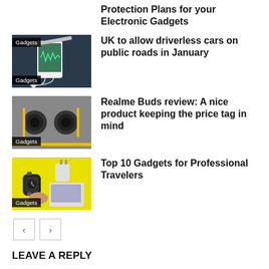Protection Plans for your Electronic Gadgets
[Figure (photo): Smartphone with earphones on dark background, Gadgets category badge]
UK to allow driverless cars on public roads in January
[Figure (photo): Realme earbuds (Buds) on gray surface with yellow accent, Gadgets category badge]
Realme Buds review: A nice product keeping the price tag in mind
[Figure (photo): Smartwatch and gadgets on yellow background, Gadgets category badge]
Top 10 Gadgets for Professional Travelers
< >
LEAVE A REPLY